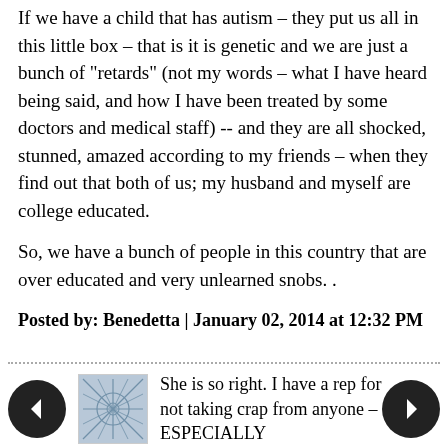If we have a child that has autism – they put us all in this little box – that is it is genetic and we are just a bunch of "retards" (not my words – what I have heard being said, and how I have been treated by some doctors and medical staff) -- and they are all shocked, stunned, amazed according to my friends – when they find out that both of us; my husband and myself are college educated.
So, we have a bunch of people in this country that are over educated and very unlearned snobs. .
Posted by: Benedetta | January 02, 2014 at 12:32 PM
She is so right. I have a rep for not taking crap from anyone – ESPECIALLY